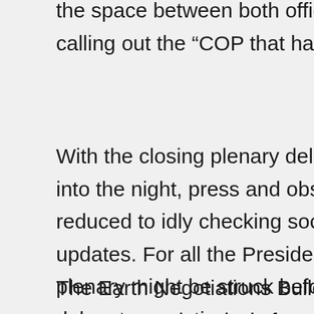the space between both official plenary halls, calling out the “COP that has failed us.”
With the closing plenary delayed later and later into the night, press and observers alike were reduced to idly checking social media for any updates. For all the Presidency’s optimism that a plenary might be struck before midnight, some delegates meetings suggested otherwise. “It’s going to be a long night,” one said, rushing between rooms.
The Earth Negotiations Bulletin will produce a summary and analysis from